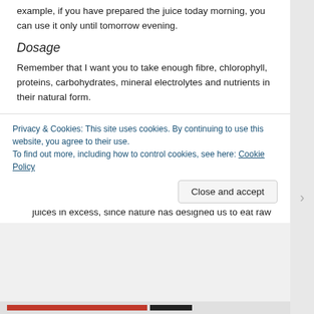example, if you have prepared the juice today morning, you can use it only until tomorrow evening.
Dosage
Remember that I want you to take enough fibre, chlorophyll, proteins, carbohydrates, mineral electrolytes and nutrients in their natural form.
Drink one glass (200 ml) three times a day (nearly 600 ml in a day). After that, decide on the quantity best suited to you.
Modify the dosage according to the tolerance level and physical condition of your body.
Bear in mind that it is impossible for us to imbibe these juices in excess, since nature has designed us to eat raw
Privacy & Cookies: This site uses cookies. By continuing to use this website, you agree to their use.
To find out more, including how to control cookies, see here: Cookie Policy
Close and accept